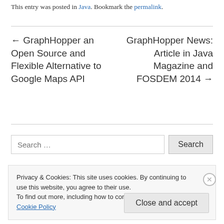This entry was posted in Java. Bookmark the permalink.
← GraphHopper an Open Source and Flexible Alternative to Google Maps API
GraphHopper News: Article in Java Magazine and FOSDEM 2014 →
Search …
Privacy & Cookies: This site uses cookies. By continuing to use this website, you agree to their use.
To find out more, including how to control cookies, see here: Cookie Policy
Close and accept